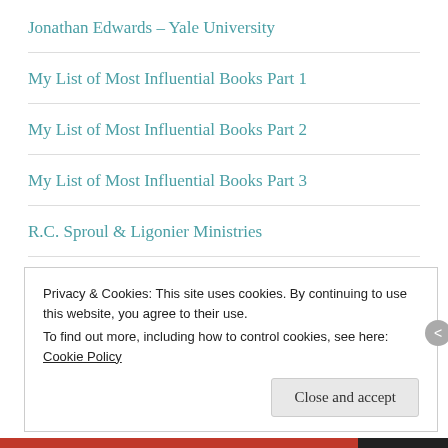Jonathan Edwards – Yale University
My List of Most Influential Books Part 1
My List of Most Influential Books Part 2
My List of Most Influential Books Part 3
R.C. Sproul & Ligonier Ministries
RING
Steven Lawson – New Reformation Ministries
Privacy & Cookies: This site uses cookies. By continuing to use this website, you agree to their use.
To find out more, including how to control cookies, see here: Cookie Policy
Close and accept